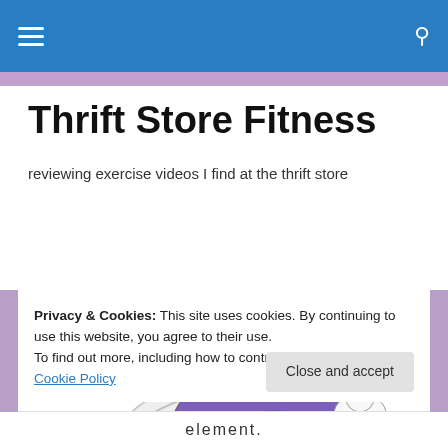Thrift Store Fitness — navigation bar with hamburger menu and search icon
Thrift Store Fitness
reviewing exercise videos I find at the thrift store
[Figure (illustration): Line drawing illustration of a woman in purple workout clothes doing crunches on an exercise ball, with two cats nearby]
Privacy & Cookies: This site uses cookies. By continuing to use this website, you agree to their use.
To find out more, including how to control cookies, see here: Cookie Policy
[Figure (logo): element. logo at the bottom of the page]